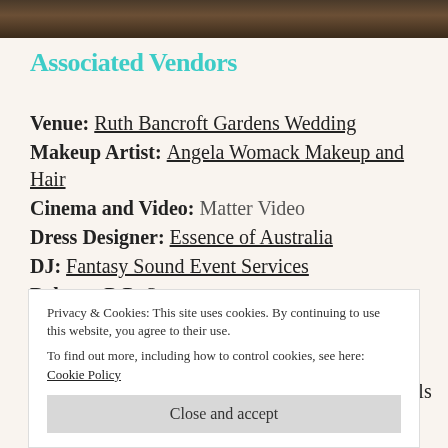[Figure (photo): Photo strip at top of page, dark warm tones, appears to be a wedding or event photo]
Associated Vendors
Venue: Ruth Bancroft Gardens Wedding
Makeup Artist: Angela Womack Makeup and Hair
Cinema and Video: Matter Video
Dress Designer: Essence of Australia
DJ: Fantasy Sound Event Services
Bakery: B.R. Sweets
Linens and Coverings: Pleasanton Event Rentals
Privacy & Cookies: This site uses cookies. By continuing to use this website, you agree to their use. To find out more, including how to control cookies, see here: Cookie Policy
Close and accept